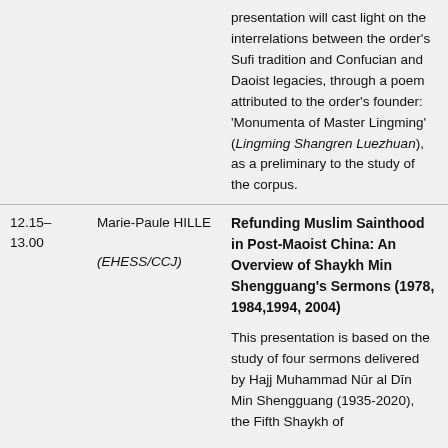presentation will cast light on the interrelations between the order's Sufi tradition and Confucian and Daoist legacies, through a poem attributed to the order's founder: 'Monumenta of Master Lingming' (Lingming Shangren Luezhuan), as a preliminary to the study of the corpus.
12.15–13.00
Marie-Paule HILLE (EHESS/CCJ)
Refunding Muslim Sainthood in Post-Maoist China: An Overview of Shaykh Min Shengguang's Sermons (1978, 1984,1994, 2004)
This presentation is based on the study of four sermons delivered by Hajj Muhammad Nūr al Dīn Min Shengguang (1935-2020), the Fifth Shaykh of